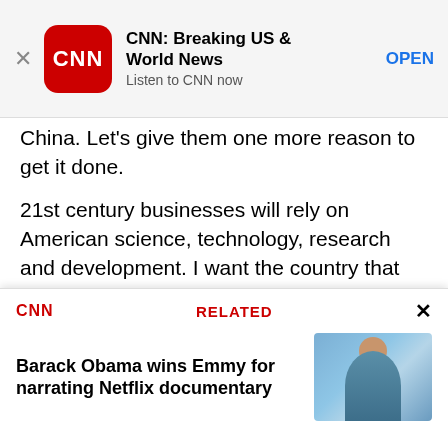[Figure (other): CNN Breaking US & World News app advertisement banner with CNN logo, app name, tagline 'Listen to CNN now', and OPEN button]
China. Let’s give them one more reason to get it done.
21st century businesses will rely on American science, technology, research and development. I want the country that eliminated polio and mapped the human genome to lead a new era of medicine – one that delivers the right treatment at the right time. In some patients with cystic fibrosis, this approach has reversed a disease once thought unstoppable
[Figure (other): CNN Related article box: 'Barack Obama wins Emmy for narrating Netflix documentary' with a thumbnail photo of Barack Obama outdoors]
Barack Obama wins Emmy for narrating Netflix documentary